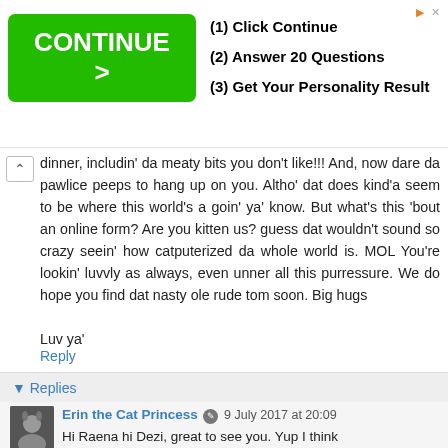[Figure (screenshot): Advertisement banner with green 'CONTINUE >' button and steps: (1) Click Continue, (2) Answer 20 Questions, (3) Get Your Personality Result]
dinner, includin' da meaty bits you don't like!!! And, now dare da pawlice peeps to hang up on you. Altho' dat does kind'a seem to be where this world's a goin' ya' know. But what's this 'bout an online form? Are you kitten us? guess dat wouldn't sound so crazy seein' how catputerized da whole world is. MOL You're lookin' luvvly as always, even unner all this purressure. We do hope you find dat nasty ole rude tom soon. Big hugs

Luv ya'

Dezi and Raena
Reply
Replies
Erin the Cat Princess 9 July 2017 at 20:09
Hi Raena hi Dezi, great to see you. Yup I think